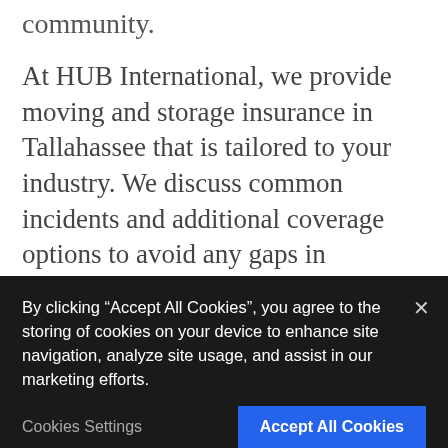community.
At HUB International, we provide moving and storage insurance in Tallahassee that is tailored to your industry. We discuss common incidents and additional coverage options to avoid any gaps in coverage. Work with our team to reduce the cost of your premiums or increase your coverage at a competitive rate. Our policies are highly customizable to fit your exact company
By clicking “Accept All Cookies”, you agree to the storing of cookies on your device to enhance site navigation, analyze site usage, and assist in our marketing efforts.
Cookies Settings
Accept All Cookies